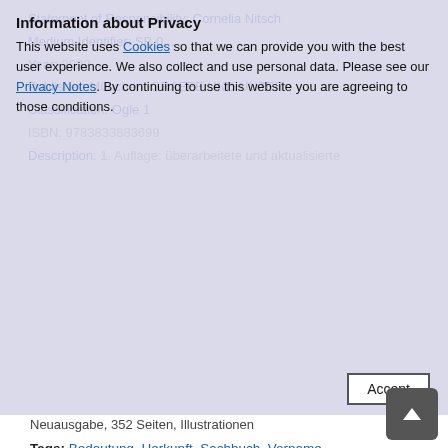Information about Privacy
This website uses Cookies so that we can provide you with the best user experience. We also collect and use personal data. Please see our Privacy Notes. By continuing to use this website you are agreeing to those conditions.
Neuausgabe, 352 Seiten, Illustrationen
Tags: Bedeutung, Herkunft, Sachbuch, Vorname
Language: Deutsch
Media group: Sachbuch
Search with truncation*: With * you can replace any number of characters on the right, left or in the middle of the word to get a larger number of hits with your search.
acquisition request
Nothing found? You are welcome to make a suggestion here. We will